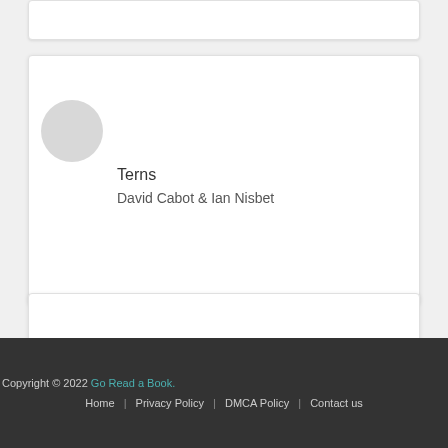Terns — David Cabot & Ian Nisbet
Wildfowl — David Cabot
Irish Birds — David Cabot
Copyright © 2022 Go Read a Book. Home | Privacy Policy | DMCA Policy | Contact us